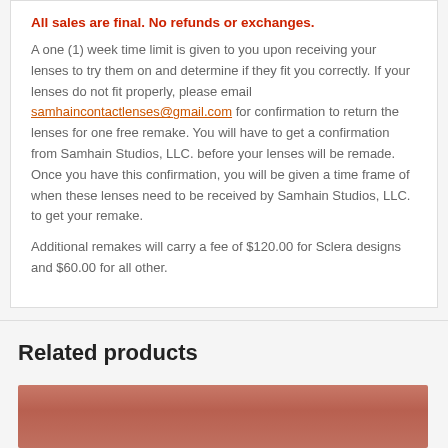All sales are final. No refunds or exchanges.
A one (1) week time limit is given to you upon receiving your lenses to try them on and determine if they fit you correctly. If your lenses do not fit properly, please email samhaincontactlenses@gmail.com for confirmation to return the lenses for one free remake. You will have to get a confirmation from Samhain Studios, LLC. before your lenses will be remade. Once you have this confirmation, you will be given a time frame of when these lenses need to be received by Samhain Studios, LLC. to get your remake.
Additional remakes will carry a fee of $120.00 for Sclera designs and $60.00 for all other.
Related products
[Figure (photo): Close-up photo of an eye wearing a contact lens, showing reddish/orange coloring]